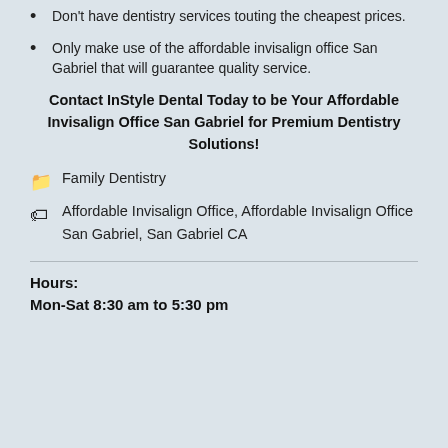Don't have dentistry services touting the cheapest prices.
Only make use of the affordable invisalign office San Gabriel that will guarantee quality service.
Contact InStyle Dental Today to be Your Affordable Invisalign Office San Gabriel for Premium Dentistry Solutions!
Family Dentistry
Affordable Invisalign Office, Affordable Invisalign Office San Gabriel, San Gabriel CA
Hours:
Mon-Sat 8:30 am to 5:30 pm